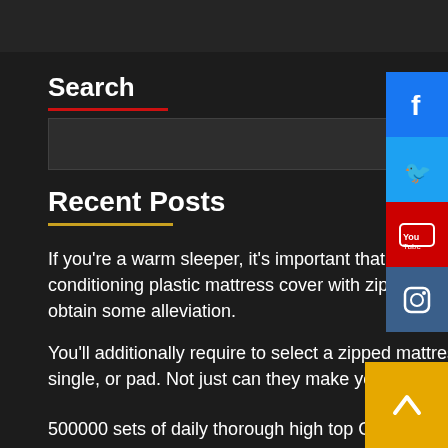Search
Recent Posts
If you're a warm sleeper, it's important that you select an conditioning plastic mattress cover with zipper so you ca obtain some alleviation.
You'll additionally require to select a zipped mattress cover single, or pad. Not just can they make your bed extra
500000 sets of daily thorough high top German training